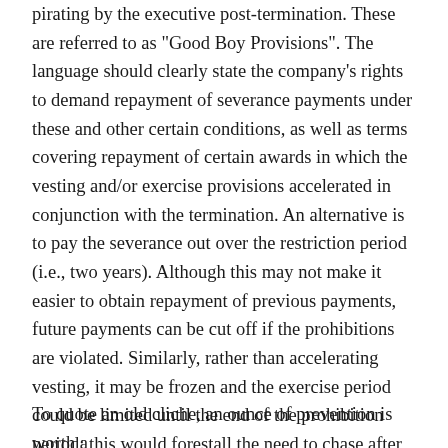pirating by the executive post-termination. These are referred to as "Good Boy Provisions". The language should clearly state the company's rights to demand repayment of severance payments under these and other certain conditions, as well as terms covering repayment of certain awards in which the vesting and/or exercise provisions accelerated in conjunction with the termination. An alternative is to pay the severance out over the restriction period (i.e., two years). Although this may not make it easier to obtain repayment of previous payments, future payments can be cut off if the prohibitions are violated. Similarly, rather than accelerating vesting, it may be frozen and the exercise period could be limited until the end of the prohibition period; this would forestall the need to chase after those awards.
To quote an old cliche, an ounce of prevention is worth a